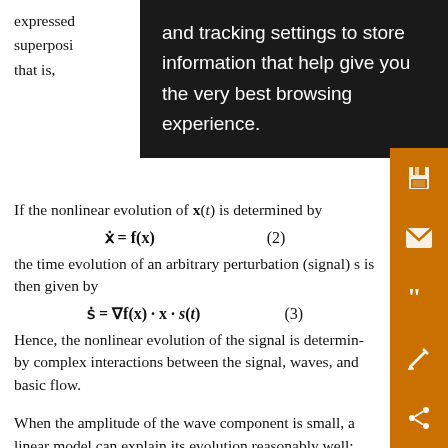expressed superposition that is, x'(0);
and tracking settings to store information that help give you the very best browsing experience.
If the nonlinear evolution of x(t) is determined by
the time evolution of an arbitrary perturbation (signal) s is then given by
Hence, the nonlinear evolution of the signal is determined by complex interactions between the signal, waves, and basic flow.
When the amplitude of the wave component is small, a linear model can explain its evolution reasonably well; that is,